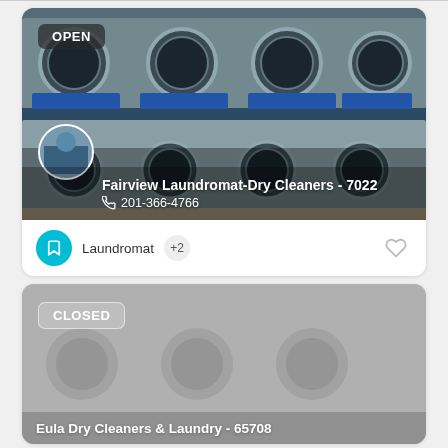[Figure (photo): Laundromat listing card showing rows of commercial washing machines. Has an OPEN badge in top-left. Business name 'Fairview Laundromat-Dry Cleaners - 7022' and phone number '201-366-4766' overlaid at bottom. A circular avatar thumbnail is visible.]
Laundromat +2
[Figure (photo): Second laundromat listing card with gray/muted background indicating closed status. Has a CLOSED badge with border. Business name 'Eula Dry Cleaners & Laundry - 65708' partially visible at bottom.]